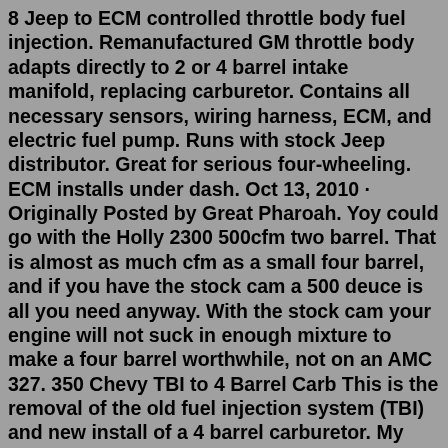8 Jeep to ECM controlled throttle body fuel injection. Remanufactured GM throttle body adapts directly to 2 or 4 barrel intake manifold, replacing carburetor. Contains all necessary sensors, wiring harness, ECM, and electric fuel pump. Runs with stock Jeep distributor. Great for serious four-wheeling. ECM installs under dash. Oct 13, 2010 · Originally Posted by Great Pharoah. Yoy could go with the Holly 2300 500cfm two barrel. That is almost as much cfm as a small four barrel, and if you have the stock cam a 500 deuce is all you need anyway. With the stock cam your engine will not suck in enough mixture to make a four barrel worthwhile, not on an AMC 327. 350 Chevy TBI to 4 Barrel Carb This is the removal of the old fuel injection system (TBI) and new install of a 4 barrel carburetor. My Blazer is 1986 but ha... Our Price: $10.95. Add To Cart. Brass Float Rochester 2 GV Carburetor 2 Bbl 1958 - 72 Chevy Jeep Pontiac NEW. This float fits 2GV carburetors which came on these General Motors applications from the factory: Chevrolet 1959-72, Chevrolet GMC Truck 1959-72...